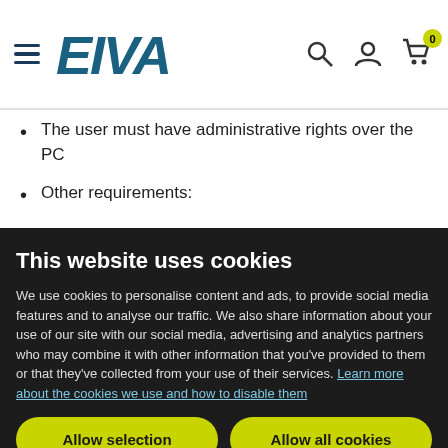EIVA
The user must have administrative rights over the PC
Other requirements:
This website uses cookies
We use cookies to personalise content and ads, to provide social media features and to analyse our traffic. We also share information about your use of our site with our social media, advertising and analytics partners who may combine it with other information that you've provided to them or that they've collected from your use of their services. Learn more about the cookies we use and how to disable them
Allow selection
Allow all cookies
Necessary  Preferences  Statistics  Marketing  Show details